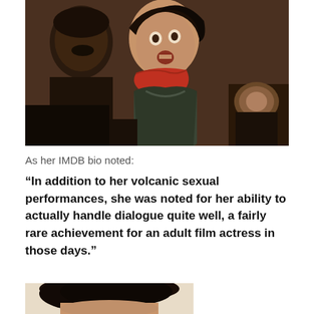[Figure (photo): A man and a woman in a dramatic scene; the woman wears a red scarf and dark tank top, both looking distressed or alarmed, dark background with warm tones.]
As her IMDB bio noted:
“In addition to her volcanic sexual performances, she was noted for her ability to actually handle dialogue quite well, a fairly rare achievement for an adult film actress in those days.”
[Figure (photo): Partial view of a person's head with dark hair, cropped, light background.]